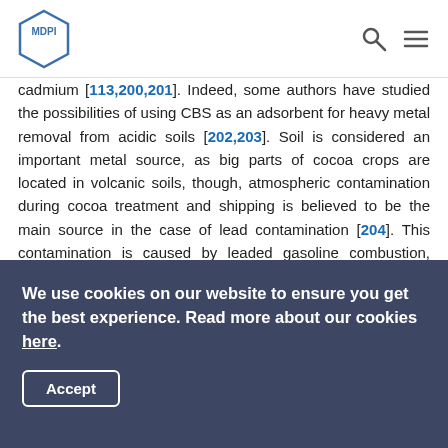MDPI
cadmium [113,200,201]. Indeed, some authors have studied the possibilities of using CBS as an adsorbent for heavy metal removal from acidic soils [202,203]. Soil is considered an important metal source, as big parts of cocoa crops are located in volcanic soils, though, atmospheric contamination during cocoa treatment and shipping is believed to be the main source in the case of lead contamination [204]. This contamination is caused by leaded gasoline combustion, which is still commonly used in several cocoa-producing countries, where emissions could be in direct contact with the cocoa shell during the fermentation, sun-drying, and shipping processes of cocoa beans [205]. Assa et al. [206] found lead concentrations in CBS
We use cookies on our website to ensure you get the best experience. Read more about our cookies here. Accept